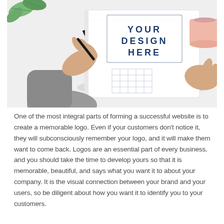[Figure (photo): Overhead photo of a person's hands holding a pen over an open notebook/sketchbook. The notebook has a rectangular bordered area with 'YOUR DESIGN HERE' written in bold dark blue letters, and below it a small grid of squares. In the top left corner there are green leaves, and in the top right corner is a pink coffee mug on a white surface.]
One of the most integral parts of forming a successful website is to create a memorable logo. Even if your customers don't notice it, they will subconsciously remember your logo, and it will make them want to come back. Logos are an essential part of every business, and you should take the time to develop yours so that it is memorable, beautiful, and says what you want it to about your company. It is the visual connection between your brand and your users, so be diligent about how you want it to identify you to your customers.